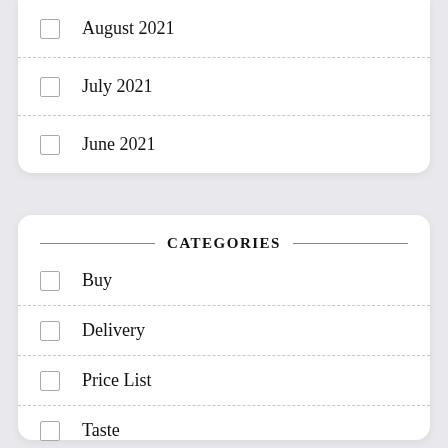August 2021
July 2021
June 2021
CATEGORIES
Buy
Delivery
Price List
Taste